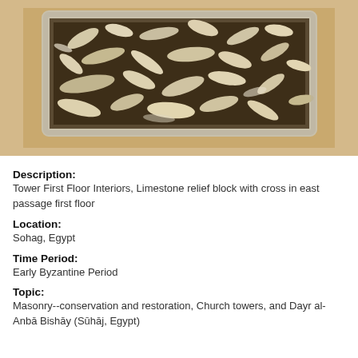[Figure (photo): Photograph of a limestone relief block with cross in east passage first floor, showing bone-like fragments embedded in dark mortar/stone material, set against a tan/beige background.]
Description:
Tower First Floor Interiors, Limestone relief block with cross in east passage first floor
Location:
Sohag, Egypt
Time Period:
Early Byzantine Period
Topic:
Masonry--conservation and restoration, Church towers, and Dayr al-Anbā Bishāy (Sūhāj, Egypt)